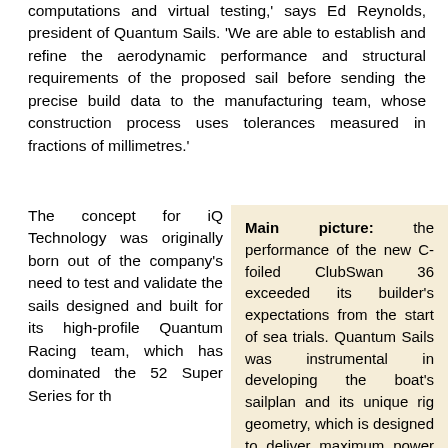computations and virtual testing,' says Ed Reynolds, president of Quantum Sails. 'We are able to establish and refine the aerodynamic performance and structural requirements of the proposed sail before sending the precise build data to the manufacturing team, whose construction process uses tolerances measured in fractions of millimetres.'
The concept for iQ Technology was originally born out of the company's need to test and validate the sails designed and built for its high-profile Quantum Racing team, which has dominated the 52 Super Series for th...
Main picture: the performance of the new C-foiled ClubSwan 36 exceeded its builder's expectations from the start of sea trials. Quantum Sails was instrumental in developing the boat's sailplan and its unique rig geometry, which is designed to deliver maximum power in light air while allowing the crew to